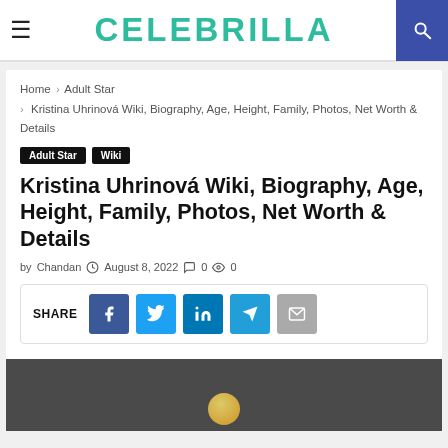CELEBRILLA
Home > Adult Star > Kristina Uhrinová Wiki, Biography, Age, Height, Family, Photos, Net Worth & Details
Adult Star
Wiki
Kristina Uhrinová Wiki, Biography, Age, Height, Family, Photos, Net Worth & Details
by Chandan  August 8, 2022  0  0
SHARE [Facebook] [Twitter] [LinkedIn] [Telegram] [Email]
[Figure (photo): Dark background photo, bottom portion visible with circular element]